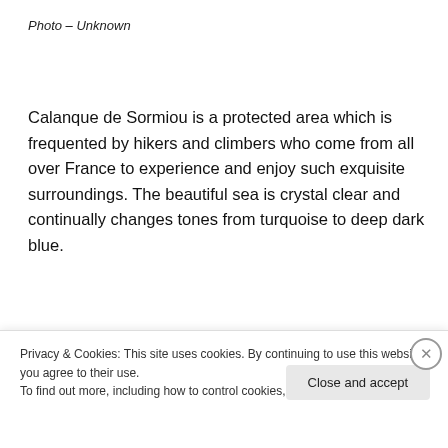Photo – Unknown
Calanque de Sormiou is a protected area which is frequented by hikers and climbers who come from all over France to experience and enjoy such exquisite surroundings. The beautiful sea is crystal clear and continually changes tones from turquoise to deep dark blue.
11. Panari Island, Okinawa – Japan
Privacy & Cookies: This site uses cookies. By continuing to use this website, you agree to their use.
To find out more, including how to control cookies, see here: Cookie Policy